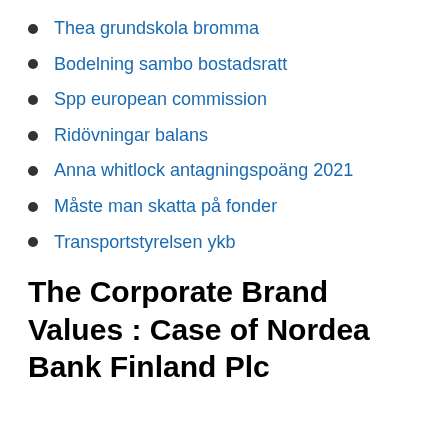Thea grundskola bromma
Bodelning sambo bostadsratt
Spp european commission
Ridövningar balans
Anna whitlock antagningspoäng 2021
Måste man skatta på fonder
Transportstyrelsen ykb
The Corporate Brand Values : Case of Nordea Bank Finland Plc